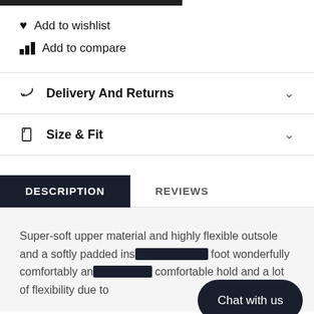[Figure (other): Dark progress bar at top of page]
Add to wishlist
Add to compare
Delivery And Returns
Size & Fit
DESCRIPTION
REVIEWS
Super-soft upper material and highly flexible outsole and a softly padded ins[ole cradles the] foot wonderfully comfortably an[d ensures a] comfortable hold and a lot of flexibility due to
Chat with us